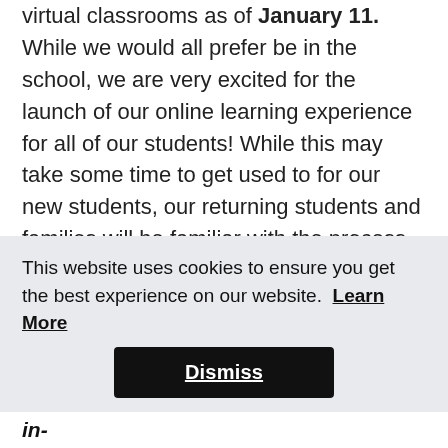virtual classrooms as of January 11. While we would all prefer be in the school, we are very excited for the launch of our online learning experience for all of our students! While this may take some time to get used to for our new students, our returning students and families will be familiar with the process from last year. We are committed to continuing to offer strong programs in light of our temporary school closure due to COVID-19.
Important Dates/Information
This website uses cookies to ensure you get the best experience on our website. Learn More
Dismiss
January 11: Grade 5-8 students return to in-